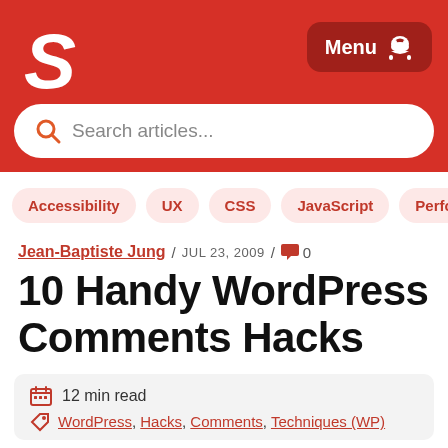[Figure (logo): White stylized S letter logo on red background]
Menu
[Figure (other): Search bar with placeholder 'Search articles...']
Accessibility
UX
CSS
JavaScript
Perfo
Jean-Baptiste Jung / JUL 23, 2009 / 0
10 Handy WordPress Comments Hacks
12 min read
WordPress, Hacks, Comments, Techniques (WP)